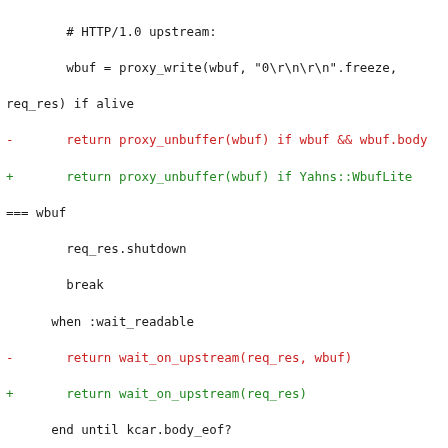[Figure (screenshot): A code diff showing Ruby/code changes, with removed lines in red prefixed by '-', added lines in green prefixed by '+', context lines in black, and '===' markers.]